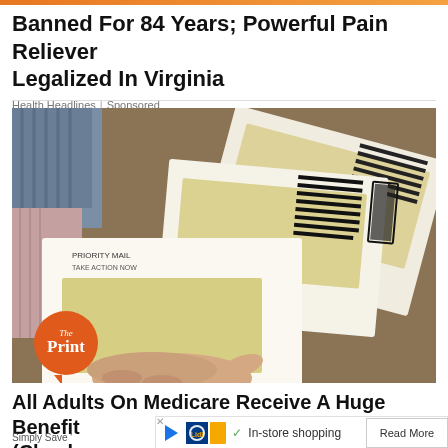Banned For 84 Years; Powerful Pain Reliever Legalized In Virginia
Health Headlines | Sponsored
[Figure (photo): A hand holding multiple white envelopes/checks fanned out, with bold printed text visible on them. A wood-toned background with fabric items visible. 'The Print' orange circular logo badge in bottom-left corner.]
All Adults On Medicare Receive A Huge Benefit (Check
Simply Save
In-store shopping
Read More